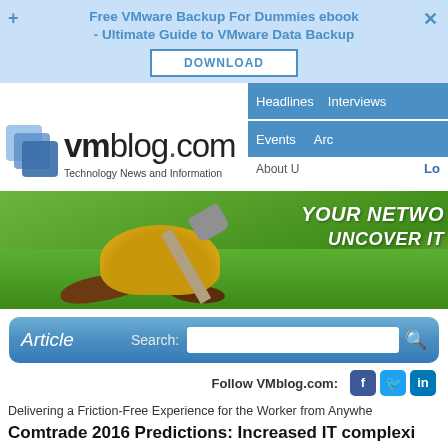[Figure (screenshot): Ad banner for Free VMware Backup For Dummies ebook with DOWNLOAD button]
Headlines    Interviews    Events    Arc    About U    Lo
[Figure (logo): VMblog.com logo with blue stacked squares icon and tagline: Technology News and Information]
[Figure (photo): Banner image with gold mound, shovels on green grass background and text YOUR NETWO... UNCOVER IT]
Article    Search:
Follow VMblog.com:
Delivering a Friction-Free Experience for the Worker from Anywhe
Comtrade 2016 Predictions: Increased IT complexi